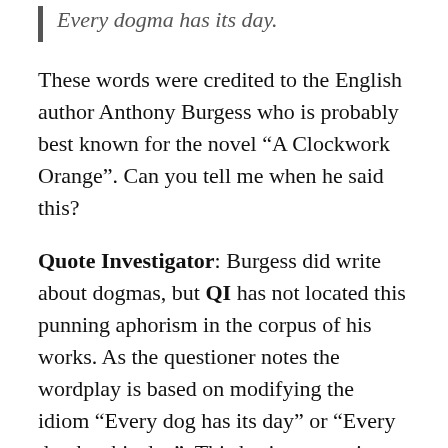Every dogma has its day.
These words were credited to the English author Anthony Burgess who is probably best known for the novel “A Clockwork Orange”. Can you tell me when he said this?
Quote Investigator: Burgess did write about dogmas, but QI has not located this punning aphorism in the corpus of his works. As the questioner notes the wordplay is based on modifying the idiom “Every dog has its day” or “Every dog has his day”. This basic expression dates back to the 1500s according to the Oxford English Dictionary, and it typically denotes that each person has a period of influence, success, power, opportunity, or good luck during his or her life.
Carolyn Wells, the author and composer of light